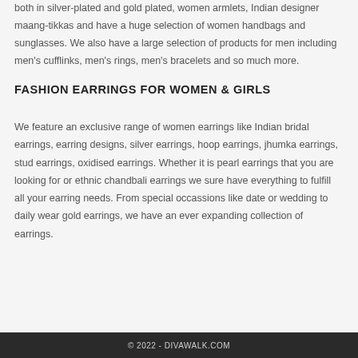both in silver-plated and gold plated, women armlets, Indian designer maang-tikkas and have a huge selection of women handbags and sunglasses. We also have a large selection of products for men including men's cufflinks, men's rings, men's bracelets and so much more.
FASHION EARRINGS FOR WOMEN & GIRLS
We feature an exclusive range of women earrings like Indian bridal earrings, earring designs, silver earrings, hoop earrings, jhumka earrings, stud earrings, oxidised earrings. Whether it is pearl earrings that you are looking for or ethnic chandbali earrings we sure have everything to fulfill all your earring needs. From special occassions like date or wedding to daily wear gold earrings, we have an ever expanding collection of earrings.
© 2022 - DIVAWALK.COM